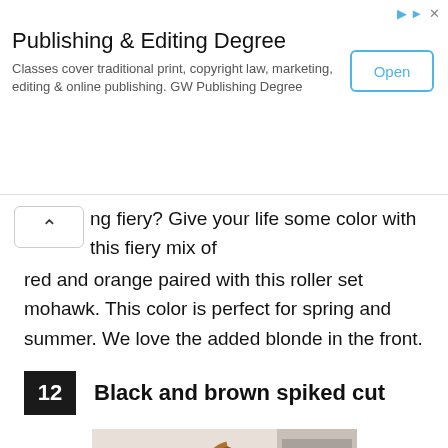[Figure (other): Advertisement banner for 'Publishing & Editing Degree'. Title: 'Publishing & Editing Degree'. Description: 'Classes cover traditional print, copyright law, marketing, editing & online publishing. GW Publishing Degree'. Has an 'Open' button on the right.]
ng fiery? Give your life some color with this fiery mix of red and orange paired with this roller set mohawk. This color is perfect for spring and summer. We love the added blonde in the front.
12  Black and brown spiked cut
[Figure (photo): Selfie photo of a woman with a short black and brown spiked haircut, wearing large round glasses, pink lipstick, and a blue denim jacket. She is indoors with shelves visible in the background.]